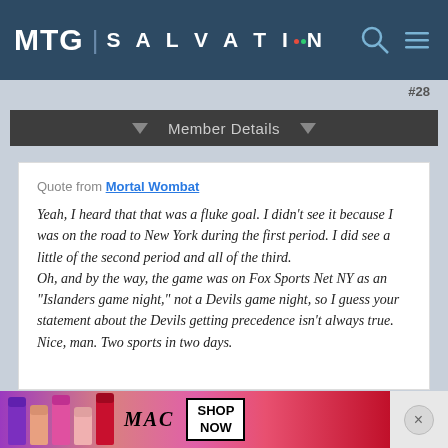MTG SALVATION
#28
Member Details
Quote from Mortal Wombat

Yeah, I heard that that was a fluke goal. I didn't see it because I was on the road to New York during the first period. I did see a little of the second period and all of the third.
Oh, and by the way, the game was on Fox Sports Net NY as an "Islanders game night," not a Devils game night, so I guess your statement about the Devils getting precedence isn't always true.
Nice, man. Two sports in two days.
[Figure (photo): MAC cosmetics advertisement banner showing lipsticks with SHOP NOW text]